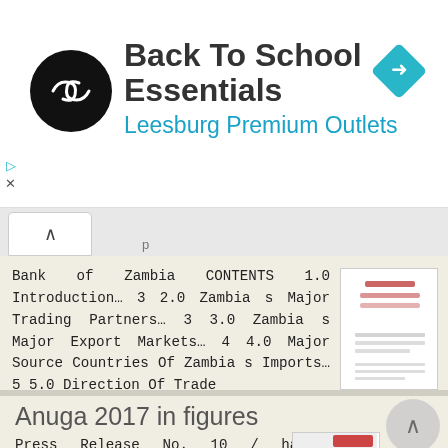[Figure (infographic): Ad banner: Back To School Essentials at Leesburg Premium Outlets with logo and navigation icon]
Bank of Zambia CONTENTS 1.0 Introduction… 3 2.0 Zambia s Major Trading Partners… 3 3.0 Zambia s Major Export Markets… 4 4.0 Major Source Countries Of Zambia s Imports… 5 5.0 Direction Of Trade
More information →
Anuga 2017 in figures
Press Release No. 10 / hac / September 2017, Cologne Anuga 2017 in figures Participation from home and abroad Exhibitors Domestic participation 716 Foreign participation 6,689 Total 7,405 The companies